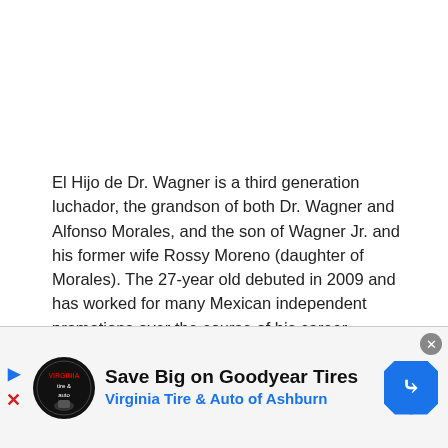El Hijo de Dr. Wagner is a third generation luchador, the grandson of both Dr. Wagner and Alfonso Morales, and the son of Wagner Jr. and his former wife Rossy Moreno (daughter of Morales). The 27-year old debuted in 2009 and has worked for many Mexican independent promotions over the course of his career.
Stay tuned to the Last Word on Pro Wrestling for stories from around the
[Figure (photo): Partial image of a wrestling scene, dark background with wrestlers visible]
[Figure (infographic): Advertisement banner: Save Big on Goodyear Tires - Virginia Tire & Auto of Ashburn, with logo and navigation arrow icon]